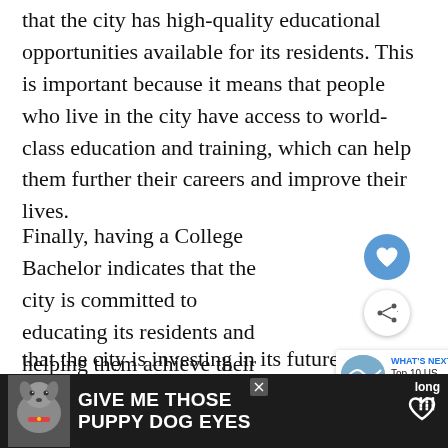that the city has high-quality educational opportunities available for its residents. This is important because it means that people who live in the city have access to world-class education and training, which can help them further their careers and improve their lives.
Finally, having a College Bachelor indicates that the city is committed to educating its residents and helping them achieve their potential. This is important because that the city is investing in its future and its
[Figure (other): Social sharing UI overlay: heart/like button (blue circle) and share button (white circle with share icon), plus a 'WHAT'S NEXT' card showing 'Top 10 US Cities with t...']
[Figure (infographic): Advertisement banner at bottom: dark background with dog photo, text 'GIVE ME THOSE PUPPY DOG EYES' with heart icon in white bold font]